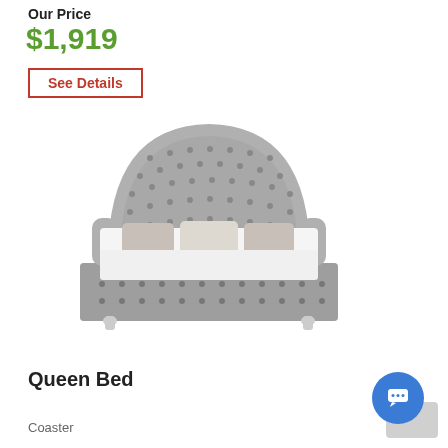Our Price
$1,919
See Details
[Figure (photo): Gray tufted queen bed with high curved headboard, rolled arms, and crystal-like legs, styled with white bedding and gray pillows]
Queen Bed
Coaster